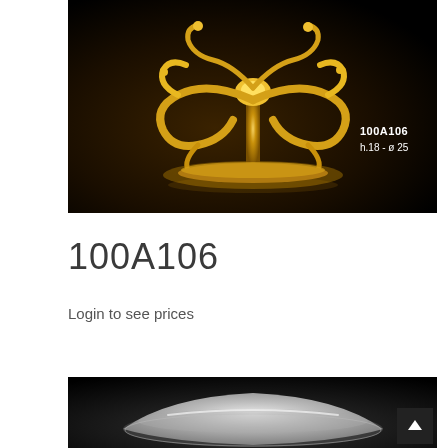[Figure (photo): Gold ornate decorative bowl/centerpiece with baroque floral scrollwork, photographed on dark background. Text overlay reads '100A106' and 'h.18 - ø 25']
100A106
Login to see prices
[Figure (photo): Silver/chrome metallic decorative bowl photographed on black background, partial view]